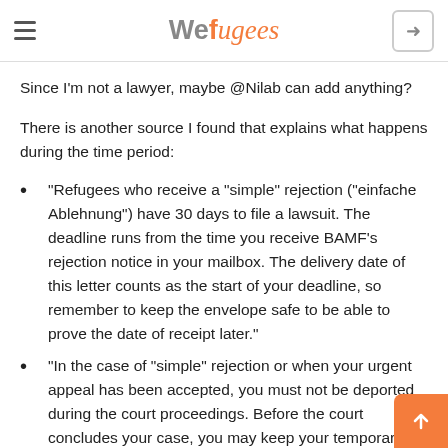Wefugees
Since I'm not a lawyer, maybe @Nilab can add anything?
There is another source I found that explains what happens during the time period:
"Refugees who receive a "simple" rejection ("einfache Ablehnung") have 30 days to file a lawsuit. The deadline runs from the time you receive BAMF's rejection notice in your mailbox. The delivery date of this letter counts as the start of your deadline, so remember to keep the envelope safe to be able to prove the date of receipt later."
"In the case of "simple" rejection or when your urgent appeal has been accepted, you must not be deported during the court proceedings. Before the court concludes your case, you may keep your temporary